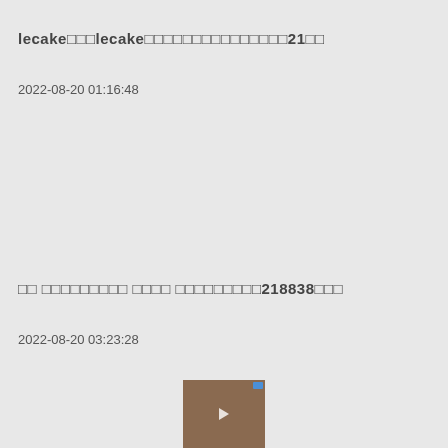lecake□□□lecake□□□□□□□□□□□□□□□21□□
2022-08-20 01:16:48
□□ □□□□□□□□□ □□□□ □□□□□□□□□218838□□□
2022-08-20 03:23:28
[Figure (photo): Small video thumbnail showing a person's face, with a blue indicator in top right corner and a play button overlay]